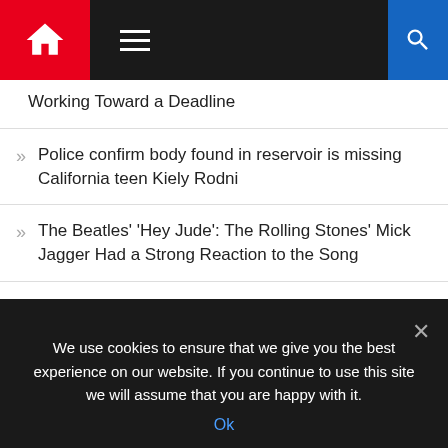[Figure (screenshot): Navigation bar with red home icon, hamburger menu, and blue search button on dark background]
Working Toward a Deadline
Police confirm body found in reservoir is missing California teen Kiely Rodni
The Beatles' 'Hey Jude': The Rolling Stones' Mick Jagger Had a Strong Reaction to the Song
'House of the Dragon' Actor Responds to Racist Reactions From 'Game of Thrones' Fans
Ice Cube's Advice Once Helped Improve Snoop Dogg's Acting
We use cookies to ensure that we give you the best experience on our website. If you continue to use this site we will assume that you are happy with it.
Ok